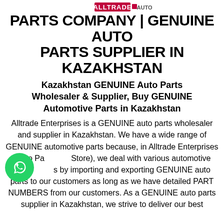PARTS COMPANY | GENUINE AUTO PARTS SUPPLIER IN KAZAKHSTAN
Kazakhstan GENUINE Auto Parts Wholesaler & Supplier, Buy GENUINE Automotive Parts in Kazakhstan
Alltrade Enterprises is a GENUINE auto parts wholesaler and supplier in Kazakhstan. We have a wide range of GENUINE automotive parts because, in Alltrade Enterprises (Auto Parts Store), we deal with various automotive parts by importing and exporting GENUINE auto parts to our customers as long as we have detailed PART NUMBERS from our customers. As a GENUINE auto parts supplier in Kazakhstan, we strive to deliver our best